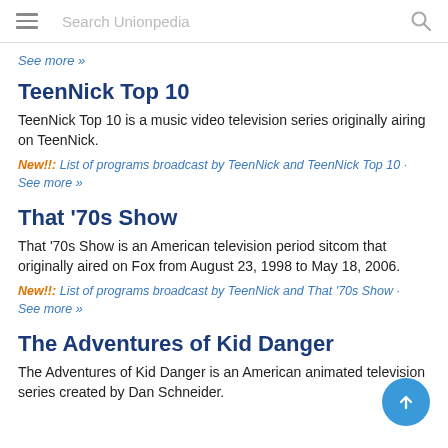Search Unionpedia
See more »
TeenNick Top 10
TeenNick Top 10 is a music video television series originally airing on TeenNick.
New!!: List of programs broadcast by TeenNick and TeenNick Top 10 · See more »
That '70s Show
That '70s Show is an American television period sitcom that originally aired on Fox from August 23, 1998 to May 18, 2006.
New!!: List of programs broadcast by TeenNick and That '70s Show · See more »
The Adventures of Kid Danger
The Adventures of Kid Danger is an American animated television series created by Dan Schneider.